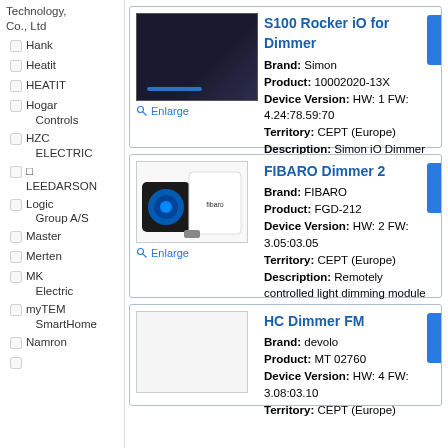Technology, Co., Ltd
Hank
Heatit
HEATIT
Hogar Controls
HZC ELECTRIC
LEEDARSON
Logic Group A/S
Master
Merten
MK Electric
myTEM SmartHome
Namron
S100 Rocker iO for Dimmer
Brand: Simon
Product: 10002020-13X
Device Version: HW: 1 FW: 4.24:78.59:70
Territory: CEPT (Europe)
Description: Simon iO Dimmer is ready to operate with Z-Wave controllers and config to be managed by Simon100 IO APP using HUB plug IO for getting a better user experience. Sending the Blind Up/Down or
FIBARO Dimmer 2
Brand: FIBARO
Product: FGD-212
Device Version: HW: 2 FW: 3.05:03.05
Territory: CEPT (Europe)
Description: Remotely controlled light dimming module is designed to work with various types of light sources in 2 or 3-wire connection so it can operate with or without neutral load.
HC Dimmer FM
Brand: devolo
Product: MT 02760
Device Version: HW: 4 FW: 3.08:03.10
Territory: CEPT (Europe)